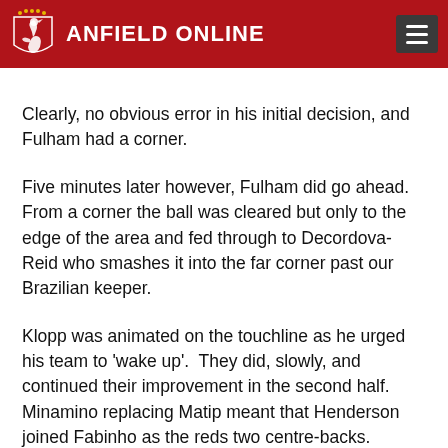ANFIELD ONLINE
Clearly, no obvious error in his initial decision, and Fulham had a corner.
Five minutes later however, Fulham did go ahead. From a corner the ball was cleared but only to the edge of the area and fed through to Decordova-Reid who smashes it into the far corner past our Brazilian keeper.
Klopp was animated on the touchline as he urged his team to 'wake up'.  They did, slowly, and continued their improvement in the second half. Minamino replacing Matip meant that Henderson joined Fabinho as the reds two centre-backs.
With just over 10 minutes left Gini Wijnaldum's